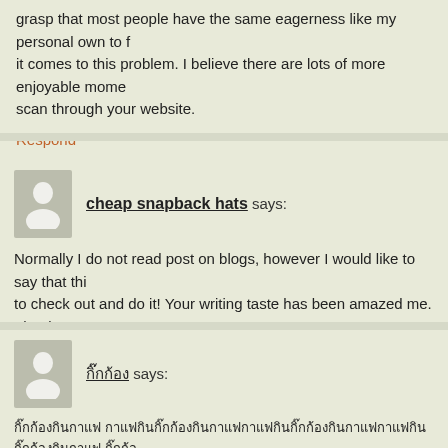grasp that most people have the same eagerness like my personal own to find it comes to this problem. I believe there are lots of more enjoyable moments scan through your website.
Respond
cheap snapback hats says:
Normally I do not read post on blogs, however I would like to say that this to check out and do it! Your writing taste has been amazed me. Thanks, very cheap snapback hats
Respond
[Thai username] says:
[Thai text content]